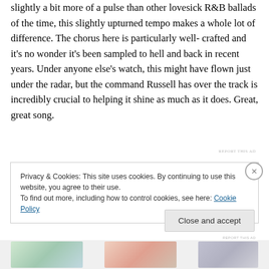outstanding here, and while the production has only slightly a bit more of a pulse than other lovesick R&B ballads of the time, this slightly upturned tempo makes a whole lot of difference. The chorus here is particularly well-crafted and it's no wonder it's been sampled to hell and back in recent years. Under anyone else's watch, this might have flown just under the radar, but the command Russell has over the track is incredibly crucial to helping it shine as much as it does. Great, great song.
REPORT THIS AD
Privacy & Cookies: This site uses cookies. By continuing to use this website, you agree to their use.
To find out more, including how to control cookies, see here: Cookie Policy
Close and accept